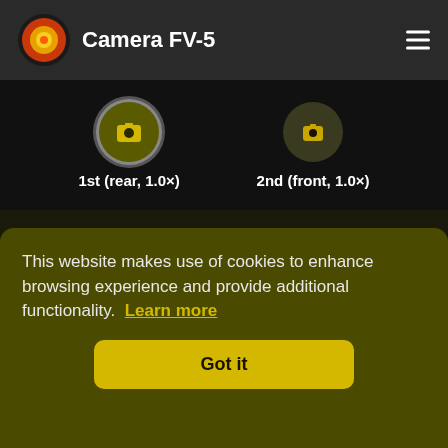Camera FV-5
[Figure (screenshot): Camera selector showing two camera icons: 1st (rear, 1.0×) with highlighted circular button and 2nd (front, 1.0×) with smaller icon.]
Lens
This website makes use of cookies to enhance browsing experience and provide additional functionality. Learn more
Got it
Focal length 35mm